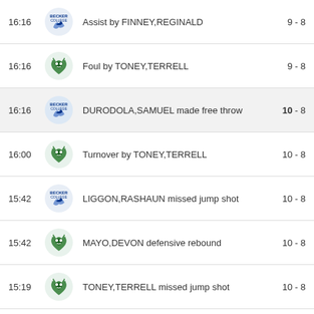| Time | Team | Event | Score |
| --- | --- | --- | --- |
| 16:16 | Becker | Assist by FINNEY,REGINALD | 9 - 8 |
| 16:16 | Wildcat | Foul by TONEY,TERRELL | 9 - 8 |
| 16:16 | Becker | DURODOLA,SAMUEL made free throw | 10 - 8 |
| 16:00 | Wildcat | Turnover by TONEY,TERRELL | 10 - 8 |
| 15:42 | Becker | LIGGON,RASHAUN missed jump shot | 10 - 8 |
| 15:42 | Wildcat | MAYO,DEVON defensive rebound | 10 - 8 |
| 15:19 | Wildcat | TONEY,TERRELL missed jump shot | 10 - 8 |
| 15:19 | Becker | DURODOLA,SAMUEL defensive rebound | 10 - 8 |
| 15:13 | Becker | FINNEY,REGINALD made layup | 12 - 8 |